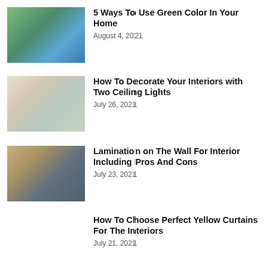[Figure (photo): Living room with green curtains, blue sofas, and yellow chairs]
5 Ways To Use Green Color In Your Home
August 4, 2021
[Figure (photo): Bright interior hallway with orange ceiling light bulb and windows]
How To Decorate Your Interiors with Two Ceiling Lights
July 26, 2021
[Figure (photo): Living and dining area with wooden walls and blue accent wall]
Lamination on The Wall For Interior Including Pros And Cons
July 23, 2021
How To Choose Perfect Yellow Curtains For The Interiors
July 21, 2021